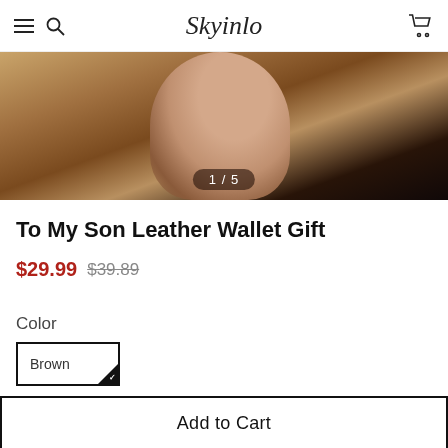Skyinlo
[Figure (photo): Close-up photo of a hand holding a brown leather wallet, image counter showing 1/5]
To My Son Leather Wallet Gift
$29.99  $39.89
Color
Brown
Qty
- 1 +
Add to Cart